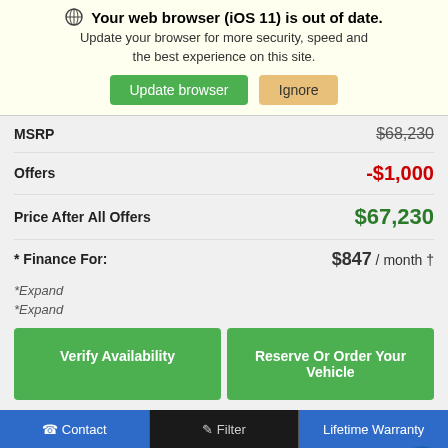Your web browser (iOS 11) is out of date. Update your browser for more security, speed and the best experience on this site.
Update browser | Ignore
| MSRP | $68,230 |
| Offers | -$1,000 |
| Price After All Offers | $67,230 |
| * Finance For: | $847 / month † |
* Expand
* Expand
Verify Availability
Reserve Or Order Your Vehicle
Get Your Instant Cash Offer For Your Vehicle Here!
Contact  |  Filter  |  Lifetime Warranty